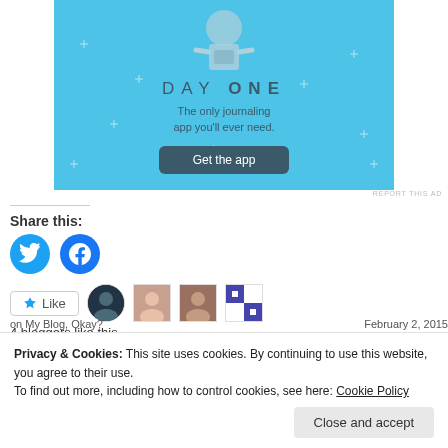[Figure (illustration): Day One journaling app advertisement banner on light blue background with 'DAY ONE' title, subtitle 'The only journaling app you'll ever need.' and a 'Get the app' button]
REPORT THIS AD
Share this:
[Figure (infographic): Twitter and Facebook share icon buttons as blue circles with white icons]
[Figure (infographic): Like button and 4 blogger avatar thumbnails]
4 bloggers like this.
Privacy & Cookies: This site uses cookies. By continuing to use this website, you agree to their use.
To find out more, including how to control cookies, see here: Cookie Policy
Close and accept